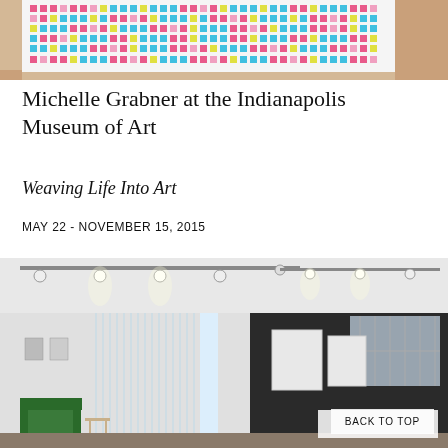[Figure (photo): Top portion of an artwork showing colorful pixel/grid pattern in pink, green, and teal on a wooden surface]
Michelle Grabner at the Indianapolis Museum of Art
Weaving Life Into Art
MAY 22 - NOVEMBER 15, 2015
[Figure (photo): Interior gallery view of the Indianapolis Museum of Art showing Michelle Grabner exhibition with a hanging beaded/crystal curtain installation, a green sofa, small tables, framed artworks on walls, and large white canvases on a dark wall]
BACK TO TOP